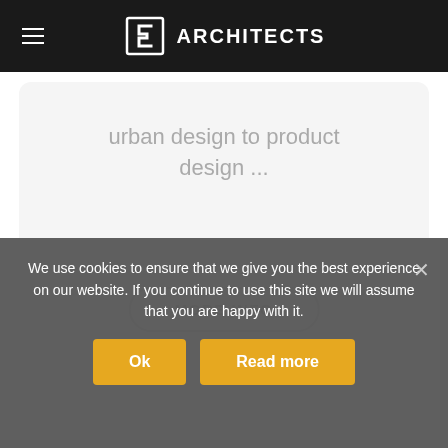≡  [2 ARCHITECTS
urban design to product design ...
MORE INFO
[Figure (illustration): Partial view of a house/edit icon in light gray]
We use cookies to ensure that we give you the best experience on our website. If you continue to use this site we will assume that you are happy with it.
Ok
Read more